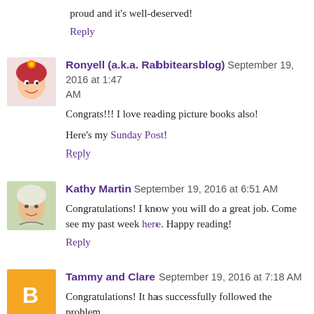proud and it's well-deserved!
Reply
Ronyell (a.k.a. Rabbitearsblog) September 19, 2016 at 1:47 AM
Congrats!!! I love reading picture books also!
Here's my Sunday Post!
Reply
Kathy Martin  September 19, 2016 at 6:51 AM
Congratulations! I know you will do a great job. Come see my past week here. Happy reading!
Reply
Tammy and Clare  September 19, 2016 at 7:18 AM
Congratulations! It has successfully followed the problem...